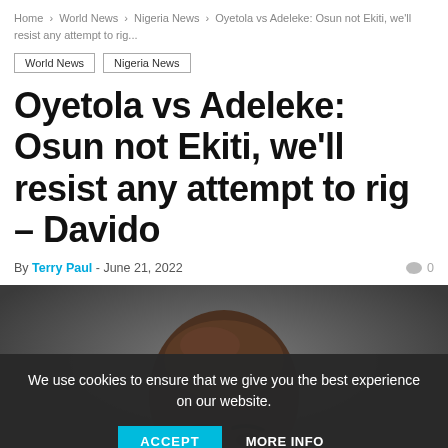Home > World News > Nigeria News > Oyetola vs Adeleke: Osun not Ekiti, we'll resist any attempt to rig...
World News
Nigeria News
Oyetola vs Adeleke: Osun not Ekiti, we’ll resist any attempt to rig – Davido
By Terry Paul - June 21, 2022  0
[Figure (photo): Partial photo of Davido (Nigerian musician/celebrity) from shoulders up against a dark grey studio background, forehead and eyes visible]
We use cookies to ensure that we give you the best experience on our website. ACCEPT MORE INFO